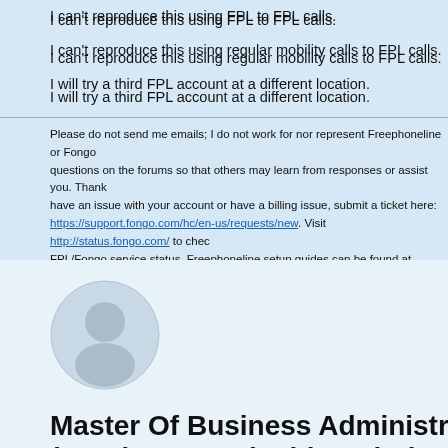I can't reproduce this using FPL to FPL calls.
I can't reproduce this using regular mobility calls to FPL calls.
I will try a third FPL account at a different location.
Please do not send me emails; I do not work for nor represent Freephoneline or Fongo questions on the forums so that others may learn from responses or assist you. Thank have an issue with your account or have a billing issue, submit a ticket here: https://support.fongo.com/hc/en-us/requests/new. Visit http://status.fongo.com/ to check FPL/Fongo service status. Freephoneline setup guides can be found at viewforum.php
[Figure (illustration): User avatar placeholder — grey circular silhouette icon]
Master Of Business Administr... (MBA) In Sustainable Solutio...